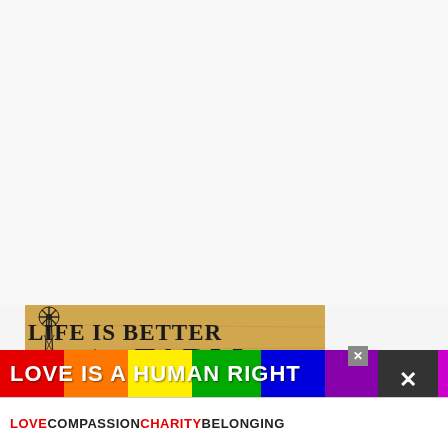[Figure (photo): White/light gray background area at top of page, mostly empty]
[Figure (photo): A wooden-look sign on tan/beige background with a windmill silhouette on the left, black barn silhouette and tractor silhouette. Text reads 'LIFE IS BETTER on the FARM' in bold black serif and script lettering.]
LOVE IS A HUMAN RIGHT
LOVE COMPASSION CHARITY BELONGING